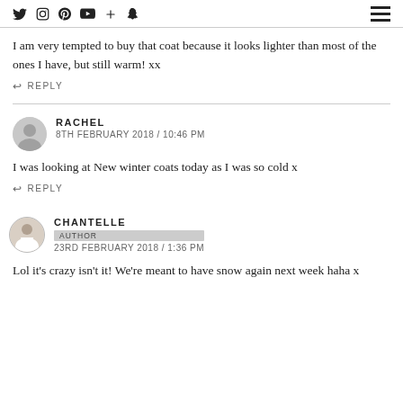Social media icons and navigation menu
I am very tempted to buy that coat because it looks lighter than most of the ones I have, but still warm! xx
REPLY
RACHEL
8TH FEBRUARY 2018 / 10:46 PM
I was looking at New winter coats today as I was so cold x
REPLY
CHANTELLE
AUTHOR
23RD FEBRUARY 2018 / 1:36 PM
Lol it’s crazy isn’t it! We’re meant to have snow again next week haha x